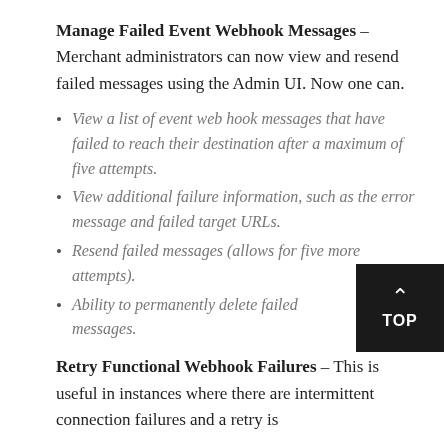Manage Failed Event Webhook Messages – Merchant administrators can now view and resend failed messages using the Admin UI. Now one can.
View a list of event web hook messages that have failed to reach their destination after a maximum of five attempts.
View additional failure information, such as the error message and failed target URLs.
Resend failed messages (allows for five more attempts).
Ability to permanently delete failed messages.
Retry Functional Webhook Failures – This is useful in instances where there are intermittent connection failures and a retry is